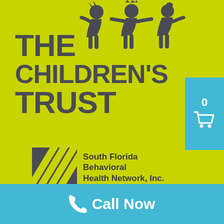[Figure (logo): The Children's Trust logo with three child silhouettes holding hands on a yellow-green background]
[Figure (logo): South Florida Behavioral Health Network, Inc. logo with diagonal striped graphic element]
[Figure (other): Teal shopping cart icon with number 0 in a teal box on the right side]
Call Now